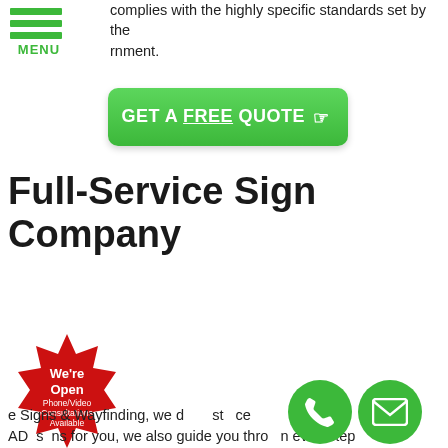[Figure (screenshot): Navigation menu icon with three green horizontal bars and green MENU label below]
complies with the highly specific standards set by the government.
[Figure (other): Green CTA button with text GET A FREE QUOTE and cursor icon]
Full-Service Sign Company
[Figure (other): Red starburst badge with text: We're Open, Phone/Video Consultations Available]
e Signs & Wayfinding, we d st ce ADA signs for you, we also guide you through eve step
[Figure (other): Green circular phone button icon]
[Figure (other): Green circular email envelope button icon]